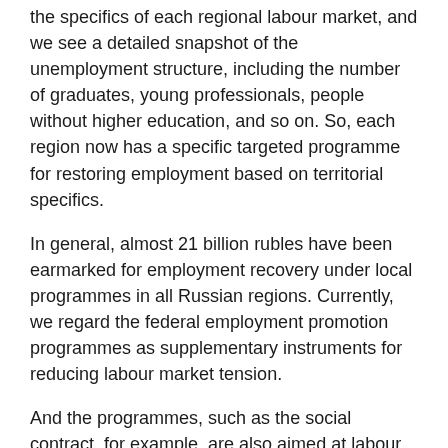the specifics of each regional labour market, and we see a detailed snapshot of the unemployment structure, including the number of graduates, young professionals, people without higher education, and so on. So, each region now has a specific targeted programme for restoring employment based on territorial specifics.
In general, almost 21 billion rubles have been earmarked for employment recovery under local programmes in all Russian regions. Currently, we regard the federal employment promotion programmes as supplementary instruments for reducing labour market tension.
And the programmes, such as the social contract, for example, are also aimed at labour market recovery. To remind you, the social contract involves a comprehensive solution to job-finding issues for low-income people. Over 60,000 people will receive such assistance. This includes an internship and employment for disadvantaged applicants and so forth.